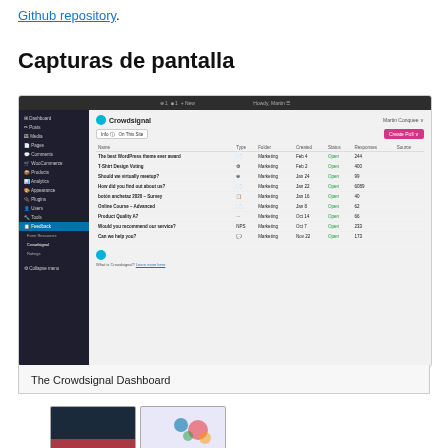Github repository.
Capturas de pantalla
[Figure (screenshot): Screenshot of the Crowdsignal plugin dashboard inside a WordPress admin panel, showing a list of surveys/forms with columns: Name, Type, Folder, Created, Status, Responses, Source. Surveys listed include 'The best WordPress theme ever award', 'T-Shirt Design Voting', 'Should we virtually meetup?', 'How did you find out about us?', 'Botón anchetaz 2020 – Survey', 'Online Course – Advanced', 'Product Quality A7', 'Would you recommend our service?', 'Can we help you?'.]
The Crowdsignal Dashboard
[Figure (screenshot): Two thumbnail screenshots partially visible at bottom of page showing additional Crowdsignal plugin views.]